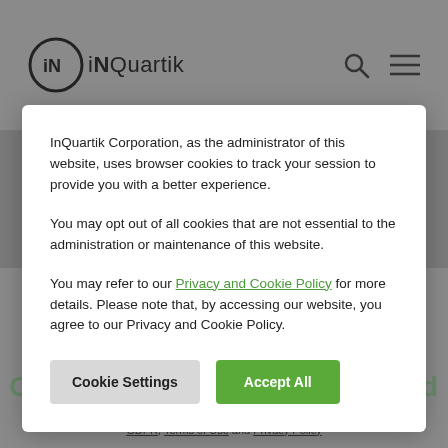InQuartik (logo) — search and menu icons
InQuartik Corporation, as the administrator of this website, uses browser cookies to track your session to provide you with a better experience.

You may opt out of all cookies that are not essential to the administration or maintenance of this website.

You may refer to our Privacy and Cookie Policy for more details. Please note that, by accessing our website, you agree to our Privacy and Cookie Policy.
Cookie Settings
Accept All
By submitting your contact information, you understand and agree to our GDPR, Terms of Use and Privacy Policy